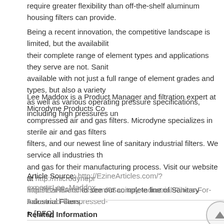require greater flexibility than off-the-shelf aluminum housing filters can provide.
Being a recent innovation, the competitive landscape is limited, but the availability of their complete range of element types and applications they serve are not. Sanita available with not just a full range of element grades and types, but also a variety as well as various operating pressure specifications, including high pressures un
Lee Maddox is a Product Manager and filtration expert at Microdyne Products Co compressed air and gas filters. Microdyne specializes in sterile air and gas filters filters, and our newest line of sanitary industrial filters. We service all industries and gas for their manufacturing process. Visit our website at http://microdyneproducts.com/sanitary-industrial-filters/ to see our complete line of Sanitary Industrial Filters.
Article Source: http://EzineArticles.com/?expert=Lee_Maddox
http://EzineArticles.com/?Sanitary-Industrial-Filters-For-Advanced-Compressed-
[RFQ]
Related Information